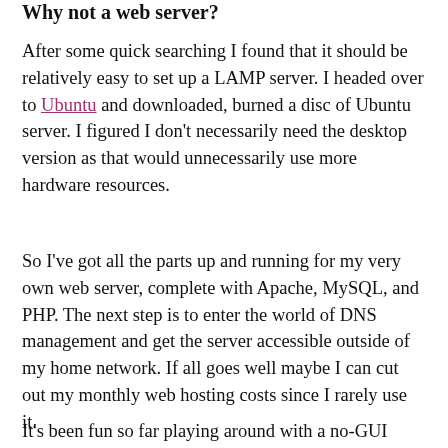Why not a web server?
After some quick searching I found that it should be relatively easy to set up a LAMP server. I headed over to Ubuntu and downloaded, burned a disc of Ubuntu server. I figured I don't necessarily need the desktop version as that would unnecessarily use more hardware resources.
So I've got all the parts up and running for my very own web server, complete with Apache, MySQL, and PHP. The next step is to enter the world of DNS management and get the server accessible outside of my home network. If all goes well maybe I can cut out my monthly web hosting costs since I rarely use it.
It's been fun so far playing around with a no-GUI